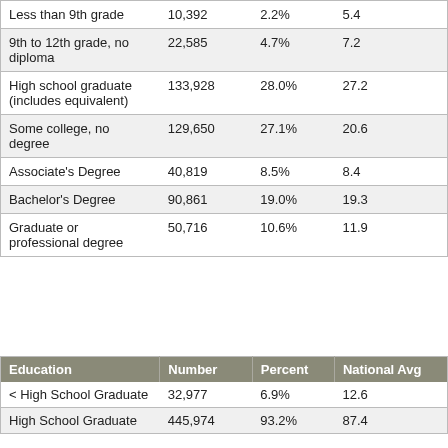|  | Number | Percent | National Avg |
| --- | --- | --- | --- |
| Less than 9th grade | 10,392 | 2.2% | 5.4 |
| 9th to 12th grade, no diploma | 22,585 | 4.7% | 7.2 |
| High school graduate (includes equivalent) | 133,928 | 28.0% | 27.2 |
| Some college, no degree | 129,650 | 27.1% | 20.6 |
| Associate's Degree | 40,819 | 8.5% | 8.4 |
| Bachelor's Degree | 90,861 | 19.0% | 19.3 |
| Graduate or professional degree | 50,716 | 10.6% | 11.9 |
| Education | Number | Percent | National Avg |
| --- | --- | --- | --- |
| < High School Graduate | 32,977 | 6.9% | 12.6 |
| High School Graduate | 445,974 | 93.2% | 87.4 |